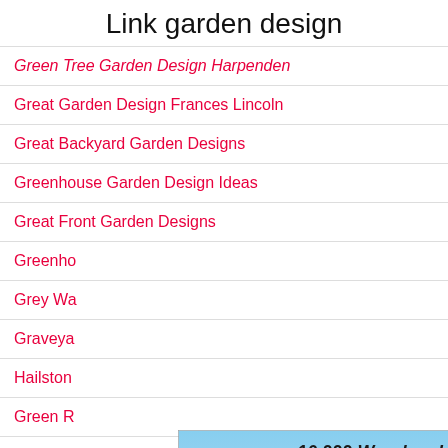Link garden design
Green Tree Garden Design Harpenden
Great Garden Design Frances Lincoln
Great Backyard Garden Designs
Greenhouse Garden Design Ideas
Great Front Garden Designs
Greenho...
Grey Wa...
Graveya...
Hailston...
Green R...
Grian G...
[Figure (screenshot): Advertisement popup for '16,000 Woodworking Projects' featuring a product box, a man, and bullet points: Decks, Sheds, Greenhouses, Chairs & Tables, File Cabinets, And Much More! With '#1 Recommended' badge and 'Download Your Plans Now!' button. Close button (X) in top-left of popup.]